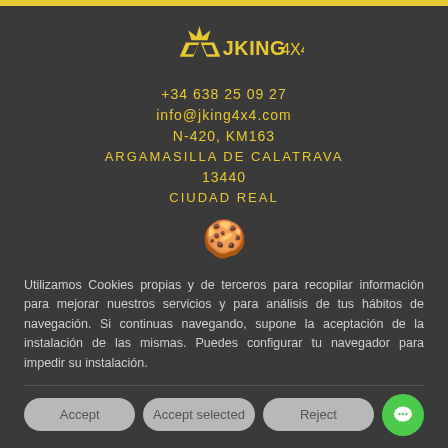[Figure (logo): JKING4X4 logo with yellow crown and stylized arrow/king symbol]
+34 638 25 09 27
info@jking4x4.com
N-420, KM163
ARGAMASILLA DE CALATRAVA
13440
CIUDAD REAL
[Figure (illustration): Cookie emoji icon]
Utilizamos Cookies propias y de terceros para recopilar información para mejorar nuestros servicios y para análisis de tus hábitos de navegación. Si continuas navegando, supone la aceptación de la instalación de las mismas. Puedes configurar tu navegador para impedir su instalación.